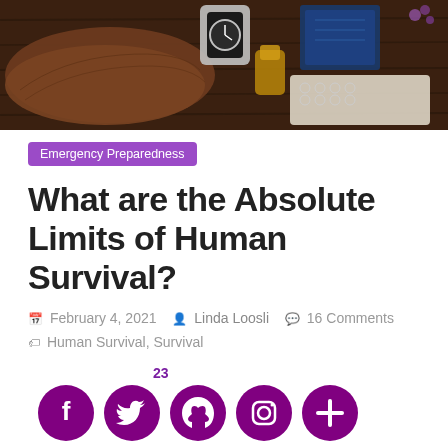[Figure (photo): Overhead flat-lay of brown leather gloves, a silver watch, cork bottle, notebook, and other items on a dark wooden surface]
Emergency Preparedness
What are the Absolute Limits of Human Survival?
February 4, 2021  Linda Loosli  16 Comments  Human Survival, Survival
[Figure (infographic): Social share icons (Facebook, Twitter, Pinterest, Instagram, More) in purple circles with share count 23 above Pinterest]